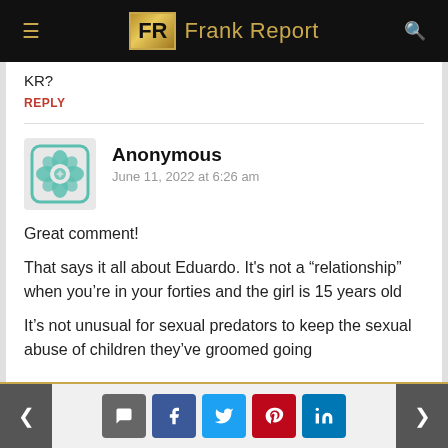Frank Report
KR?
REPLY
Anonymous
June 11, 2022 at 6:26 am
Great comment!
That says it all about Eduardo. It's not a “relationship” when you’re in your forties and the girl is 15 years old
It’s not unusual for sexual predators to keep the sexual abuse of children they’ve groomed going
< [comment] [f] [twitter] [pinterest] [in] >